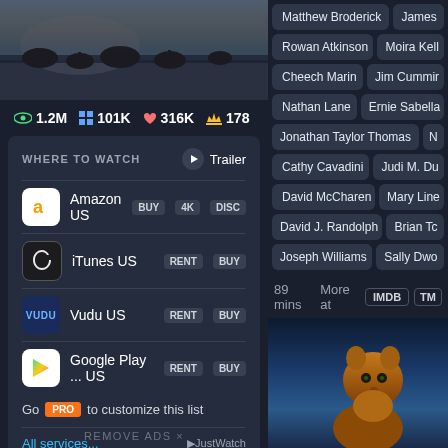[Figure (photo): Hero image of animals on savanna/landscape scene, dark toned]
👁 1.2M   ⊞ 101K   ♥ 316K   👑 178
WHERE TO WATCH   ▶ Trailer
Amazon US   BUY   4K   DISC
iTunes US   RENT   BUY
Vudu US   RENT   BUY
Google Play ...   US   RENT   BUY
Go PRO to customize this list
All services...   JustWatch
REMOVE ADS ×
Matthew Broderick   James
Rowan Atkinson   Moira Kell
Cheech Marin   Jim Cummir
Nathan Lane   Ernie Sabella
Jonathan Taylor Thomas   N
Cathy Cavadini   Judi M. Du
David McCharen   Mary Line
David J. Randolph   Brian Tc
Joseph Williams   Sally Dwo
89 mins   More at   IMDB   TM
[Figure (photo): Young lion cub photo against twilight sky background]